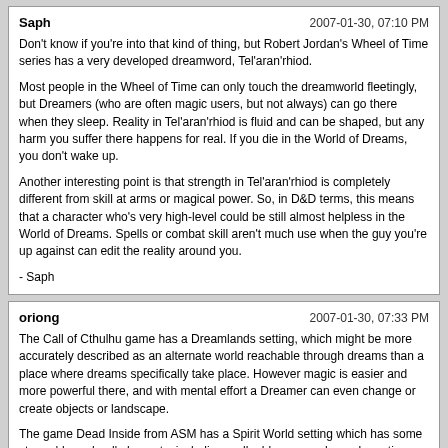Saph | 2007-01-30, 07:10 PM
Don't know if you're into that kind of thing, but Robert Jordan's Wheel of Time series has a very developed dreamword, Tel'aran'rhiod.

Most people in the Wheel of Time can only touch the dreamworld fleetingly, but Dreamers (who are often magic users, but not always) can go there when they sleep. Reality in Tel'aran'rhiod is fluid and can be shaped, but any harm you suffer there happens for real. If you die in the World of Dreams, you don't wake up.

Another interesting point is that strength in Tel'aran'rhiod is completely different from skill at arms or magical power. So, in D&D terms, this means that a character who's very high-level could be still almost helpless in the World of Dreams. Spells or combat skill aren't much use when the guy you're up against can edit the reality around you.

- Saph
oriong | 2007-01-30, 07:33 PM
The Call of Cthulhu game has a Dreamlands setting, which might be more accurately described as an alternate world reachable through dreams than a place where dreams specifically take place. However magic is easier and more powerful there, and with mental effort a Dreamer can even change or create objects or landscape.

The game Dead Inside from ASM has a Spirit World setting which has some strong 'dreamland' elements: including malleable geography and reactive geography and inhabitants.
Powered by vBulletin® Copyright © 2022 vBulletin Solutions, Inc. All rights reserved.